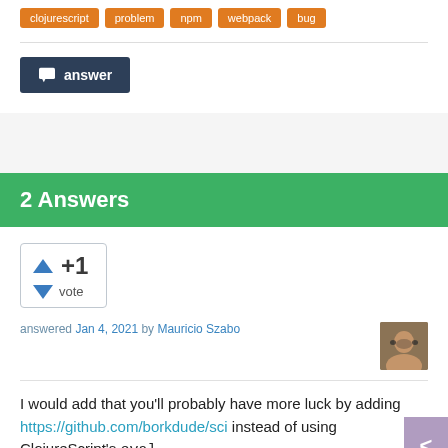clojurescript
problem
npm
webpack
bug
answer
2 Answers
+1 vote
answered Jan 4, 2021 by Mauricio Szabo
I would add that you'll probably have more luck by adding https://github.com/borkdude/sci instead of using ClojureScript's eval.